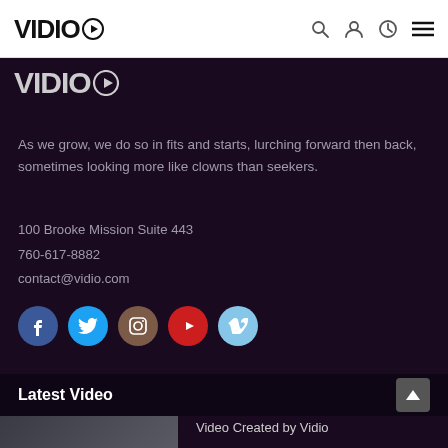VIDIO
[Figure (logo): Vidio logo in dark purple section]
As we grow, we do so in fits and starts, lurching forward then back, sometimes looking more like clowns than seekers.
100 Brooke Mission Suite 443
760-617-8882
contact@vidio.com
[Figure (other): Social media icons row: Facebook (blue), Twitter (cyan), Instagram (brown), YouTube (red), Vimeo (light blue)]
Latest Video
[Figure (photo): Video thumbnail image at bottom left]
Video Created by Vidio